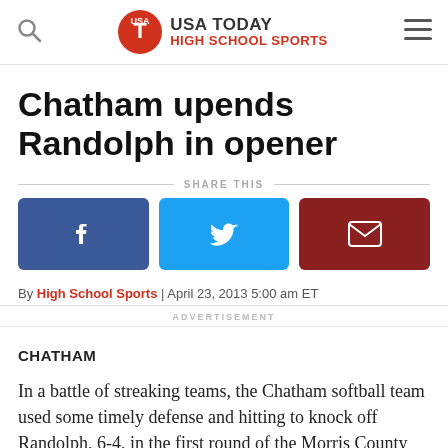USA TODAY HIGH SCHOOL SPORTS
Chatham upends Randolph in opener
SHARE THIS
[Figure (infographic): Social share buttons: Facebook (blue), Twitter (light blue), Email (dark red)]
By High School Sports | April 23, 2013 5:00 am ET
ADVERTISEMENT
CHATHAM
In a battle of streaking teams, the Chatham softball team used some timely defense and hitting to knock off Randolph, 6-4, in the first round of the Morris County